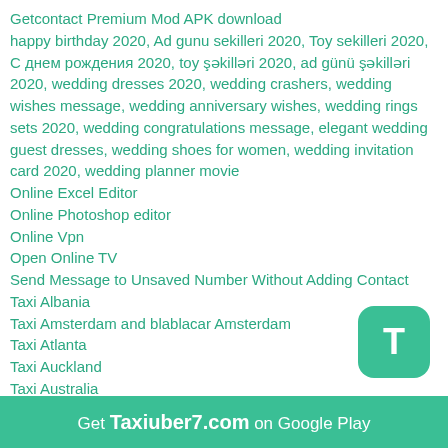Getcontact Premium Mod APK download
happy birthday 2020, Ad gunu sekilleri 2020, Toy sekilleri 2020, С днем рождения 2020, toy şəkilləri 2020, ad günü şəkilləri 2020, wedding dresses 2020, wedding crashers, wedding wishes message, wedding anniversary wishes, wedding rings sets 2020, wedding congratulations message, elegant wedding guest dresses, wedding shoes for women, wedding invitation card 2020, wedding planner movie
Online Excel Editor
Online Photoshop editor
Online Vpn
Open Online TV
Send Message to Unsaved Number Without Adding Contact
Taxi Albania
Taxi Amsterdam and blablacar Amsterdam
Taxi Atlanta
Taxi Auckland
Taxi Australia
Taxi Austria
Taxi Azerbaijan
Taxi Baku
Taxi Barcelona and Blablacar Barcelona
Taxi Belarus
Taxi Beograd Moscow Berlin
Taxi Dubai
Get Taxiuber7.com on Google Play